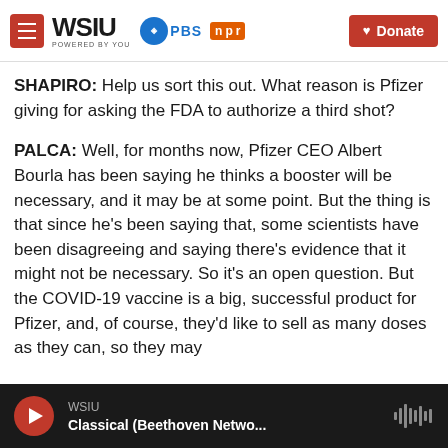WSIU POWERED BY YOU | PBS | npr | Donate
SHAPIRO: Help us sort this out. What reason is Pfizer giving for asking the FDA to authorize a third shot?
PALCA: Well, for months now, Pfizer CEO Albert Bourla has been saying he thinks a booster will be necessary, and it may be at some point. But the thing is that since he's been saying that, some scientists have been disagreeing and saying there's evidence that it might not be necessary. So it's an open question. But the COVID-19 vaccine is a big, successful product for Pfizer, and, of course, they'd like to sell as many doses as they can, so they may
WSIU | Classical (Beethoven Netwo...